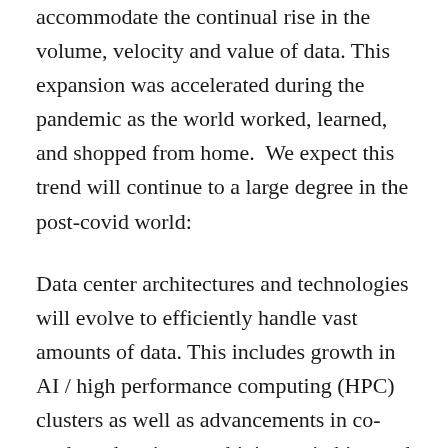accommodate the continual rise in the volume, velocity and value of data. This expansion was accelerated during the pandemic as the world worked, learned, and shopped from home.  We expect this trend will continue to a large degree in the post-covid world:
Data center architectures and technologies will evolve to efficiently handle vast amounts of data. This includes growth in AI / high performance computing (HPC) clusters as well as advancements in co-packaged optics, combining switching and optical fabrics onto a single chip to interconnect the thousands of compute and storage servers.